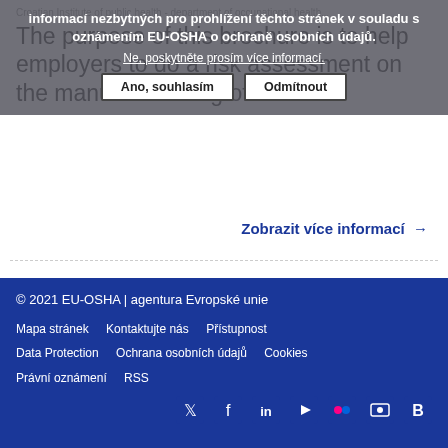Croatian Institute of public health - department of occupational health...
informací nezbytných pro prohlížení těchto stránek v souladu s oznámením EU-OSHA o ochraně osobních údajů.
Ne, poskytněte prosím více informací.
Ano, souhlasím
Odmítnout
The purpose of this brochure is to help employers to do a risk assessment on the manual handling of loads.
Zobrazit více informací →
© 2021 EU-OSHA | agentura Evropské unie
Mapa stránek   Kontaktujte nás   Přístupnost
Data Protection   Ochrana osobních údajů   Cookies
Právní oznámení   RSS